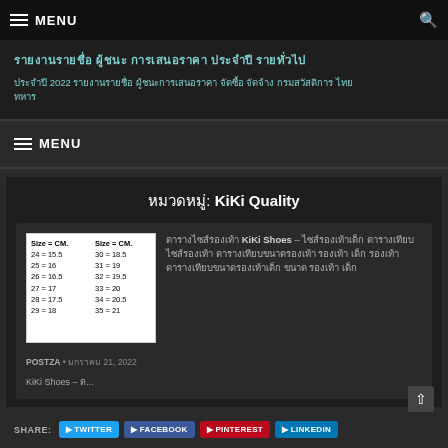MENU
ประกาศรายชื่อ ผู้ชนะ การเสนอราคา ประจำปี 2565
ประจำปี 2022 ประกาศรายชื่อ ผู้ชนะการเสนอราคา จัดซื้อ จัดจ้าง กรมสวัสดิการ
MENU
หมวดหมู่: KiKi Quality
ตารางไซส์รองเท้า KiKi Shoes – ไซส์รองเท้าเด็ก ตารางเทียบไซส์รองเท้า ตารางเทียบขนาดรองเท้า รองเท้า เด็ก รองเท้า ตารางเทียบขนาดรองเท้าเด็ก ขนาด รองเท้า เด็ก
POSTZA • มกราคม 21, 2022
KiKi Shoes – ต...
SHARE: TWITTER FACEBOOK PINTEREST LINKEDIN